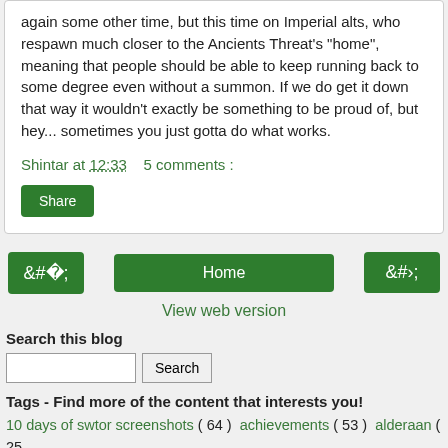again some other time, but this time on Imperial alts, who respawn much closer to the Ancients Threat's "home", meaning that people should be able to keep running back to some degree even without a summon. If we do get it down that way it wouldn't exactly be something to be proud of, but hey... sometimes you just gotta do what works.
Shintar at 12:33    5 comments :
Share
‹
Home
›
View web version
Search this blog
Search
Tags - Find more of the content that interests you!
10 days of swtor screenshots ( 64 )  achievements ( 53 )  alderaan ( 25 )  all kotet chapters ( 9 )  all kotfe chapters ( 17 )  arenas ( 17 )  assault